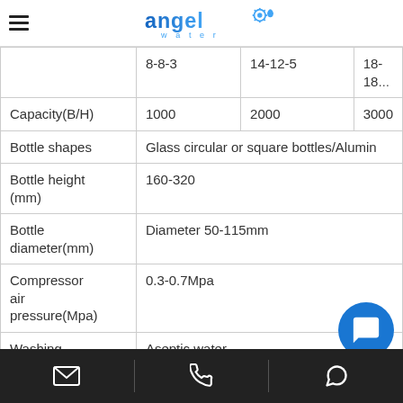Angel Water - product specification page
|  | 8-8-3 | 14-12-5 | 18-18... |
| --- | --- | --- | --- |
| Capacity(B/H) | 1000 | 2000 | 3000 |
| Bottle shapes | Glass circular or square bottles/Alumin... |  |  |
| Bottle height (mm) | 160-320 |  |  |
| Bottle diameter(mm) | Diameter 50-115mm |  |  |
| Compressor air pressure(Mpa) | 0.3-0.7Mpa |  |  |
| Washing meidum | Aseptic water |  |  |
Email | Phone | WhatsApp